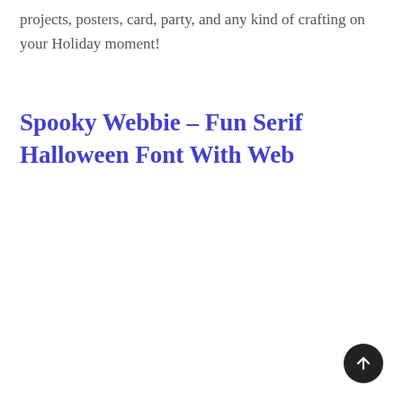projects, posters, card, party, and any kind of crafting on your Holiday moment!
Spooky Webbie – Fun Serif Halloween Font With Web